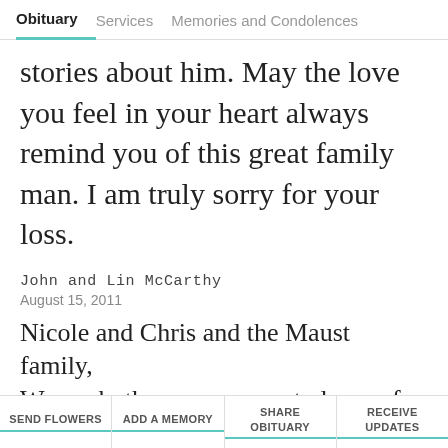Obituary   Services   Memories and Condolences
stories about him. May the love you feel in your heart always remind you of this great family man. I am truly sorry for your loss.
John and Lin McCarthy
August 15, 2011
Nicole and Chris and the Maust family,
We are both so very sorry to learn of Mr.
SEND FLOWERS   ADD A MEMORY   SHARE OBITUARY   RECEIVE UPDATES